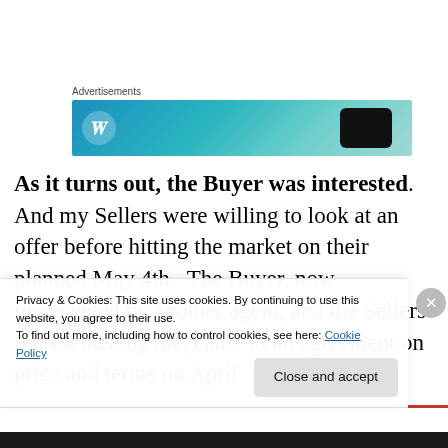Advertisements
[Figure (illustration): Advertisement banner with blue-to-teal gradient background, WordPress-style circular logo on left, phone shape on right]
As it turns out, the Buyer was interested.  And my Sellers were willing to look at an offer before hitting the market on their planned May 4th.  The Buyer, now represented by another agent, and the Sellers represented by me, came to an agreement on price and terms on April 22nd...
Privacy & Cookies: This site uses cookies. By continuing to use this website, you agree to their use.
To find out more, including how to control cookies, see here: Cookie Policy
Close and accept